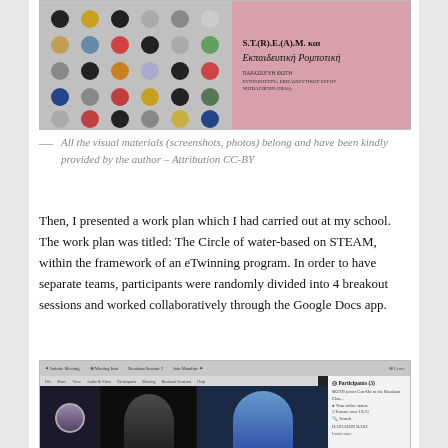[Figure (screenshot): Screenshot of a presentation slide showing colorful dot patterns on the left and text in Greek on a pink background on the right, mentioning S.T.(R).E.(A).M. and Educational Robotics.]
All the visual materials (screenshots, photos) belong and have been kindly provided by the author – Attribution CC-BY
Then, I presented a work plan which I had carried out at my school. The work plan was titled: The Circle of water-based on STEAM, within the framework of an eTwinning program. In order to have separate teams, participants were randomly divided into 4 breakout sessions and worked collaboratively through the Google Docs app.
[Figure (screenshot): Screenshot of a video conferencing session showing multiple participants in small video windows, with a participants panel on the right side.]